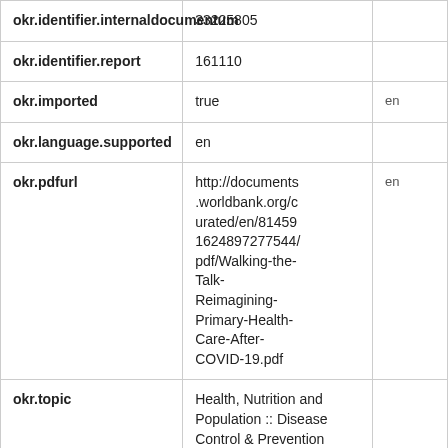| Field | Value | Lang |
| --- | --- | --- |
| okr.identifier.internaldocumentum | 33225805 |  |
| okr.identifier.report | 161110 |  |
| okr.imported | true | en |
| okr.language.supported | en |  |
| okr.pdfurl | http://documents.worldbank.org/curated/en/814591624897277544/pdf/Walking-the-Talk-Reimagining-Primary-Health-Care-After-COVID-19.pdf | en |
| okr.topic | Health, Nutrition and Population :: Disease Control & Prevention |  |
| okr.topic | Health, Nutrition and Population :: Health Economics & Fi... |  |